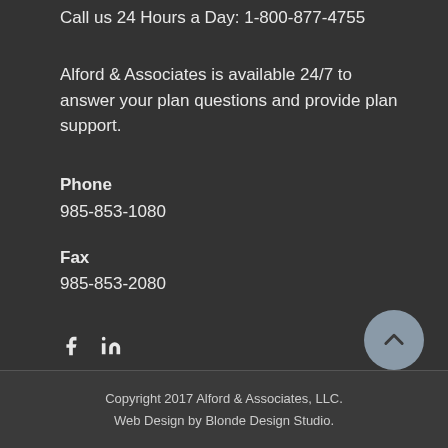Call us 24 Hours a Day: 1-800-877-4755
Alford & Associates is available 24/7 to answer your plan questions and provide plan support.
Phone
985-853-1080
Fax
985-853-2080
[Figure (illustration): Social media icons: Facebook (f) and LinkedIn (in)]
[Figure (illustration): Back to top button: circular grey button with upward arrow]
Copyright 2017 Alford & Associates, LLC.
Web Design by Blonde Design Studio.